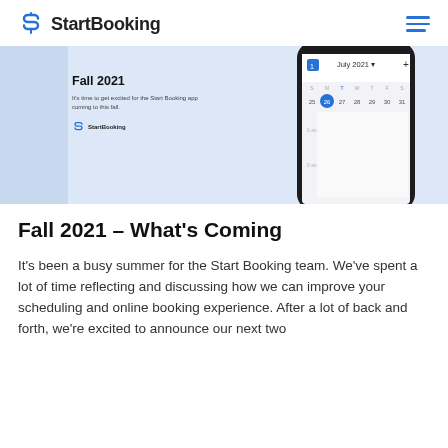StartBooking
[Figure (screenshot): Hero banner with light blue background showing 'Fall 2021' heading, subtitle text about Start Booking app coming this fall, StartBooking logo, and a smartphone mockup displaying a calendar app showing July 2021]
Fall 2021 – What's Coming
It's been a busy summer for the Start Booking team. We've spent a lot of time reflecting and discussing how we can improve your scheduling and online booking experience. After a lot of back and forth, we're excited to announce our next two